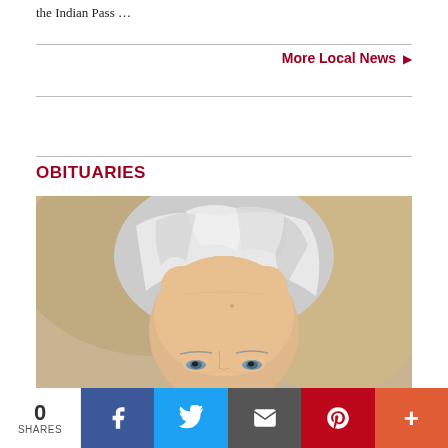the Indian Pass …
More Local News ▶
OBITUARIES
[Figure (photo): Portrait photo of an elderly woman with short silver/white hair, facing forward, against a warm beige/golden background. Only the upper portion of her face and head are visible.]
0 SHARES | Facebook | Twitter | Email | Pinterest | More